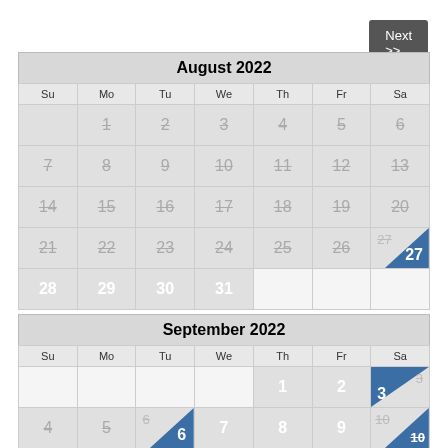Next >>
| Su | Mo | Tu | We | Th | Fr | Sa |
| --- | --- | --- | --- | --- | --- | --- |
|  | 1 | 2 | 3 | 4 | 5 | 6 |
| 7 | 8 | 9 | 10 | 11 | 12 | 13 |
| 14 | 15 | 16 | 17 | 18 | 19 | 20 |
| 21 | 22 | 23 | 24 | 25 | 26 | 27 |
| 28 | 29 | 30 | 31 |  |  |  |
| Su | Mo | Tu | We | Th | Fr | Sa |
| --- | --- | --- | --- | --- | --- | --- |
|  |  |  |  | 1 | 2 | 3 |
| 4 | 5 | 6 | 7 | 8 | 9 | 10 |
| 11 | 12 | 13 | 14 | 15 | 16 | 17 |